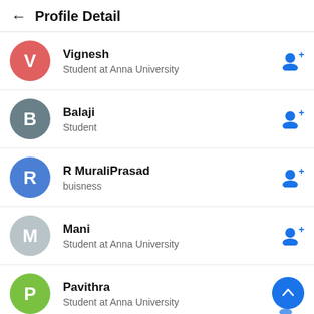← Profile Detail
Vignesh
Student at Anna University
Balaji
Student
R MuraliPrasad
buisness
Mani
Student at Anna University
Pavithra
Student at Anna University